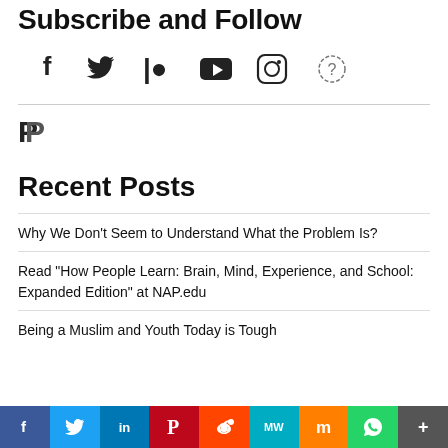Subscribe and Follow
[Figure (infographic): Row of social media icons: Facebook, Twitter, Patreon, YouTube, Instagram, and a question mark circle icon]
[Figure (logo): PayPal icon (P logo)]
Recent Posts
Why We Don’t Seem to Understand What the Problem Is?
Read “How People Learn: Brain, Mind, Experience, and School: Expanded Edition” at NAP.edu
Being a Muslim and Youth Today is Tough
[Figure (infographic): Social sharing bar with buttons: Facebook (f), Twitter bird, LinkedIn (in), Pinterest (P), Reddit alien, MeWe (MW), Mix (m), WhatsApp, More (+)]